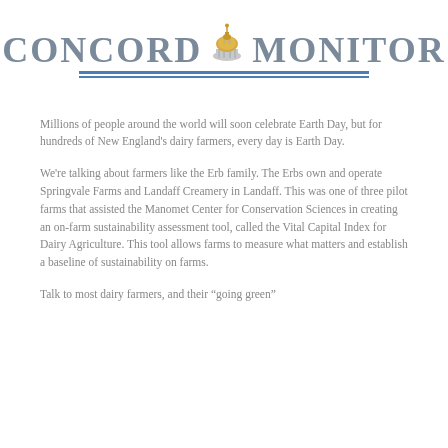[Figure (logo): Concord Monitor newspaper logo with golden dome icon, gray serif text, blue double underline]
Millions of people around the world will soon celebrate Earth Day, but for hundreds of New England's dairy farmers, every day is Earth Day.
We're talking about farmers like the Erb family. The Erbs own and operate Springvale Farms and Landaff Creamery in Landaff. This was one of three pilot farms that assisted the Manomet Center for Conservation Sciences in creating an on-farm sustainability assessment tool, called the Vital Capital Index for Dairy Agriculture. This tool allows farms to measure what matters and establish a baseline of sustainability on farms.
Talk to most dairy farmers, and their “going green”